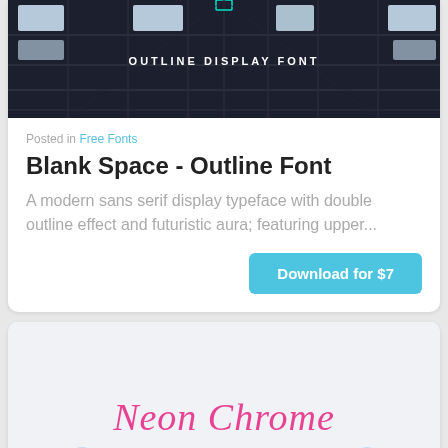[Figure (photo): Dark ceiling with grid structure and skylights, with text 'OUTLINE DISPLAY FONT' overlaid in white]
Posted in Free Fonts
Blank Space - Outline Font
A modern sans serif display typeface with double outline effect and futuristic aura; featuring upper...
Download for $7
[Figure (illustration): Neon Chrome Gradients font specimen showing script 'Neon Chrome' in pink and bold 'GRADIENTS' in chrome blue gradient]